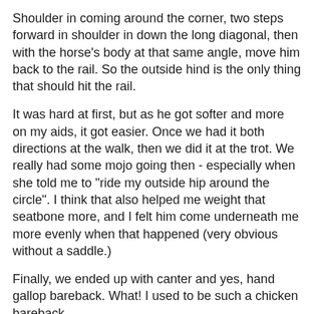Shoulder in coming around the corner, two steps forward in shoulder in down the long diagonal, then with the horse's body at that same angle, move him back to the rail.  So the outside hind is the only thing that should hit the rail.
It was hard at first, but as he got softer and more on my aids, it got easier.  Once we had it both directions at the walk, then we did it at the trot.  We really had some mojo going then - especially when she told me to "ride my outside hip around the circle".  I think that also helped me weight that seatbone more, and I felt him come underneath me more evenly when that happened (very obvious without a saddle.)
Finally, we ended up with canter and yes, hand gallop bareback.  What!  I used to be such a chicken bareback.
Right now, our big goal is to hand off some of the responsibility for keeping the gait/impulsion/bend/whatever to Connor so that I don't have to micromanage as much anymore, and that's mostly what we did at the canter.  Time for him to take responsibility for his own body and get him more confirmed in this stuff so I'm free to do other things.